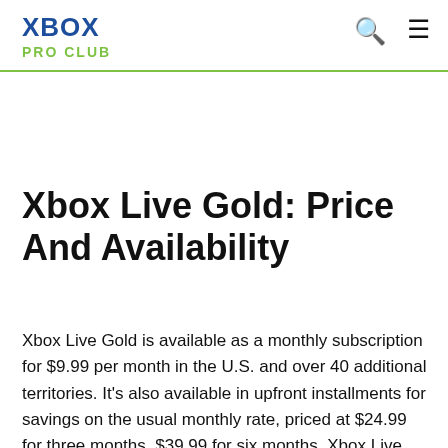XBOX PRO CLUB
Xbox Live Gold: Price And Availability
Xbox Live Gold is available as a monthly subscription for $9.99 per month in the U.S. and over 40 additional territories. It's also available in upfront installments for savings on the usual monthly rate, priced at $24.99 for three months, $39.99 for six months. Xbox Live Gold is available through a 12-month prepaid membership for $59.99 via third-party retailers like Amazon, GameStop, and